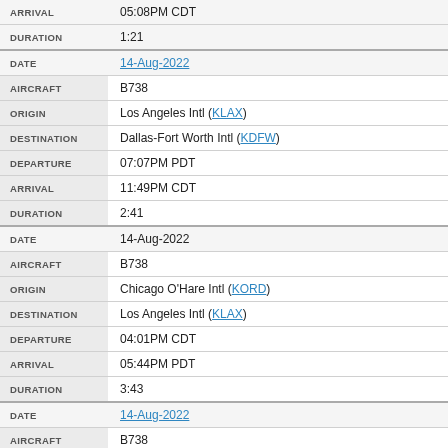| Field | Value |
| --- | --- |
| ARRIVAL | 05:08PM CDT |
| DURATION | 1:21 |
| DATE | 14-Aug-2022 |
| AIRCRAFT | B738 |
| ORIGIN | Los Angeles Intl (KLAX) |
| DESTINATION | Dallas-Fort Worth Intl (KDFW) |
| DEPARTURE | 07:07PM PDT |
| ARRIVAL | 11:49PM CDT |
| DURATION | 2:41 |
| DATE | 14-Aug-2022 |
| AIRCRAFT | B738 |
| ORIGIN | Chicago O'Hare Intl (KORD) |
| DESTINATION | Los Angeles Intl (KLAX) |
| DEPARTURE | 04:01PM CDT |
| ARRIVAL | 05:44PM PDT |
| DURATION | 3:43 |
| DATE | 14-Aug-2022 |
| AIRCRAFT | B738 |
| ORIGIN | Denver Intl (KDEN) |
| DESTINATION | Chicago O'Hare Intl (KORD) |
| DEPARTURE | 11:35AM MDT |